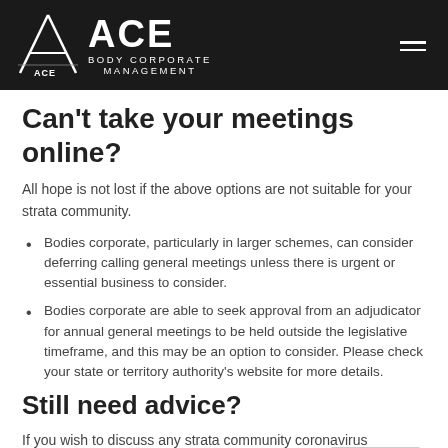[Figure (logo): ACE Body Corporate Management logo with stylized A icon on dark background header with hamburger menu icon]
Can't take your meetings online?
All hope is not lost if the above options are not suitable for your strata community.
Bodies corporate, particularly in larger schemes, can consider deferring calling general meetings unless there is urgent or essential business to consider.
Bodies corporate are able to seek approval from an adjudicator for annual general meetings to be held outside the legislative timeframe, and this may be an option to consider. Please check your state or territory authority's website for more details.
Still need advice?
If you wish to discuss any strata community coronavirus concerns further with an Ace Body Corporate manager, please do not hesitate to contact us via our website or